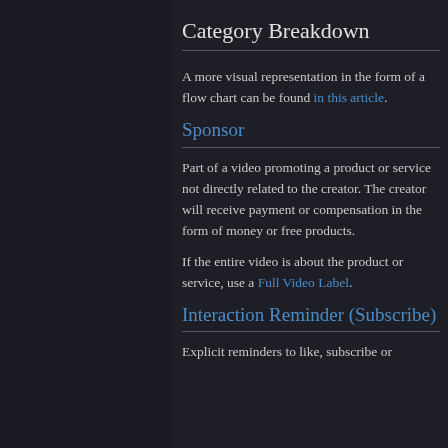Category Breakdown
A more visual representation in the form of a flow chart can be found in this article.
Sponsor
Part of a video promoting a product or service not directly related to the creator. The creator will receive payment or compensation in the form of money or free products.
If the entire video is about the product or service, use a Full Video Label.
Interaction Reminder (Subscribe)
Explicit reminders to like, subscribe or